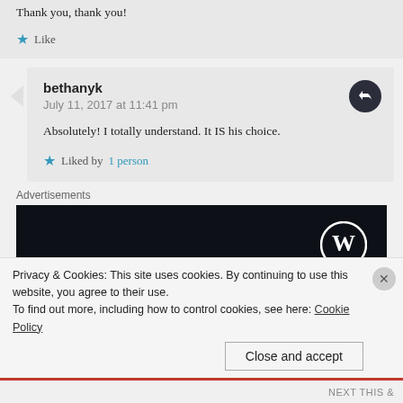Thank you, thank you!
Like
bethanyk
July 11, 2017 at 11:41 pm
Absolutely! I totally understand. It IS his choice.
Liked by 1 person
Advertisements
[Figure (logo): WordPress logo on dark background]
Privacy & Cookies: This site uses cookies. By continuing to use this website, you agree to their use. To find out more, including how to control cookies, see here: Cookie Policy
Close and accept